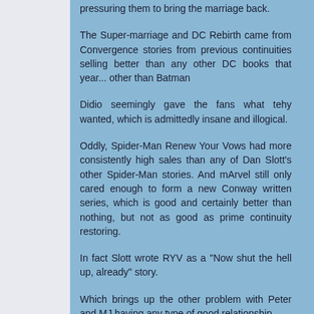pressuring them to bring the marriage back.
The Super-marriage and DC Rebirth came from Convergence stories from previous continuities selling better than any other DC books that year... other than Batman
Didio seemingly gave the fans what tehy wanted, which is admittedly insane and illogical.
Oddly, Spider-Man Renew Your Vows had more consistently high sales than any of Dan Slott's other Spider-Man stories. And mArvel still only cared enough to form a new Conway written series, which is good and certainly better than nothing, but not as good as prime continuity restoring.
In fact Slott wrote RYV as a "Now shut the hell up, already" story.
Which brings up the other problem with Peter and MJ having any type of good relationship